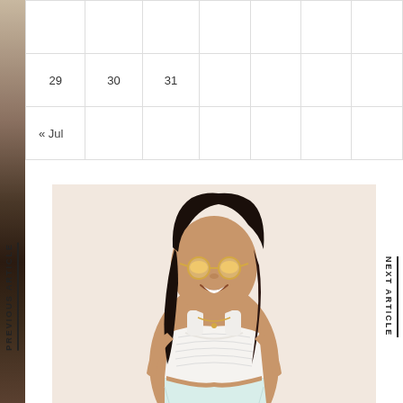| 29 | 30 | 31 |  |  |  |  |
| « Jul |  |  |  |  |  |  |
PREVIOUS ARTICLE
NEXT ARTICLE
[Figure (photo): Fashion photo of a young woman with dark hair, wearing yellow-tinted round sunglasses, a white crochet/lace crop top, and light mint/white high-waisted pants. She is smiling and wearing a delicate gold necklace. The background is a soft warm cream/off-white.]